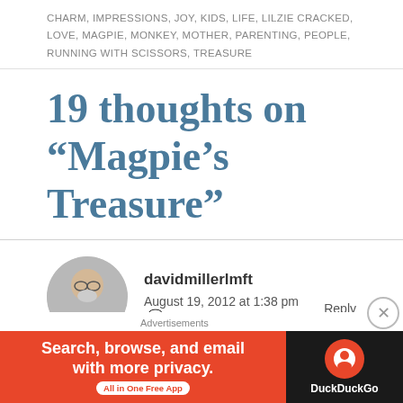CHARM, IMPRESSIONS, JOY, KIDS, LIFE, LILZIE CRACKED, LOVE, MAGPIE, MONKEY, MOTHER, PARENTING, PEOPLE, RUNNING WITH SCISSORS, TREASURE
19 thoughts on “Magpie’s Treasure”
davidmillerlmft
August 19, 2012 at 1:38 pm  Reply
Advertisements
Search, browse, and email with more privacy. All in One Free App — DuckDuckGo